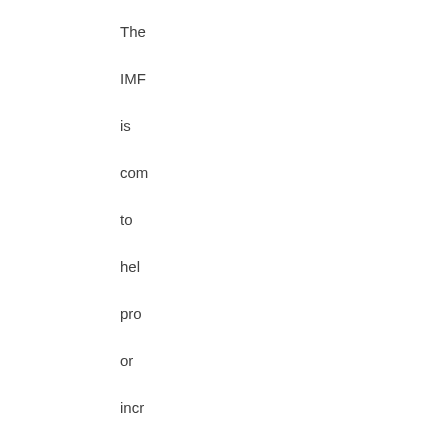The IMF is committed to helping provide or increase social spending in the program it supports in lower income countries. In this